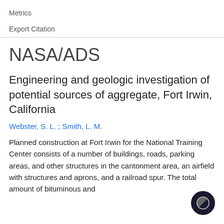Metrics
Export Citation
NASA/ADS
Engineering and geologic investigation of potential sources of aggregate, Fort Irwin, California
Webster, S. L. ;  Smith, L. M.
Planned construction at Fort Irwin for the National Training Center consists of a number of buildings, roads, parking areas, and other structures in the cantonment area, an airfield with structures and aprons, and a railroad spur. The total amount of bituminous and